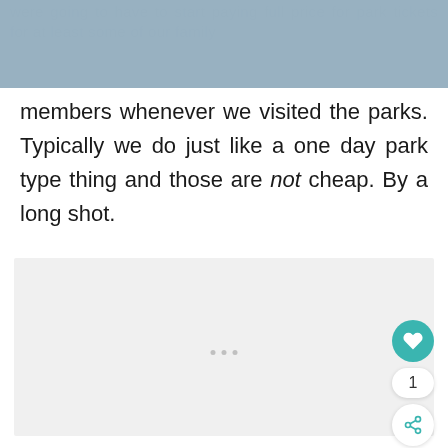were going to have to start paying full price for park tickets for at least some of our family
members whenever we visited the parks. Typically we do just like a one day park type thing and those are not cheap. By a long shot.
[Figure (other): Light gray content placeholder box with three dots indicating loading/ad content, with social interaction buttons (heart/like button showing count of 1, and share button) on the right side]